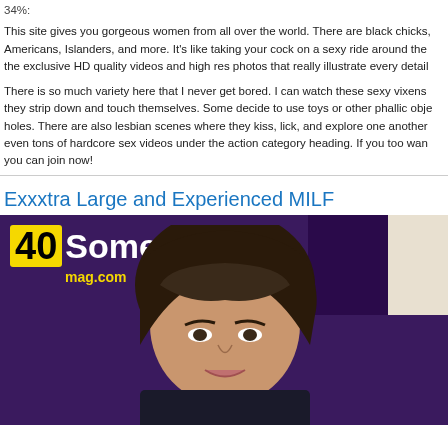34%:
This site gives you gorgeous women from all over the world. There are black chicks, Americans, Islanders, and more. It's like taking your cock on a sexy ride around the the exclusive HD quality videos and high res photos that really illustrate every detail
There is so much variety here that I never get bored. I can watch these sexy vixens they strip down and touch themselves. Some decide to use toys or other phallic obje holes. There are also lesbian scenes where they kiss, lick, and explore one another even tons of hardcore sex videos under the action category heading. If you too wan you can join now!
Exxxtra Large and Experienced MILF
[Figure (photo): Photo thumbnail showing a woman with dark hair, with a '40Something mag.com' logo overlay on a purple background. A phone cord is visible in the upper right area.]